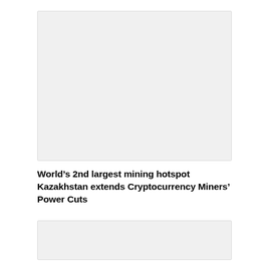[Figure (photo): Top image placeholder area, light grey background]
World’s 2nd largest mining hotspot Kazakhstan extends Cryptocurrency Miners’ Power Cuts
[Figure (photo): Bottom image placeholder area, light grey background]